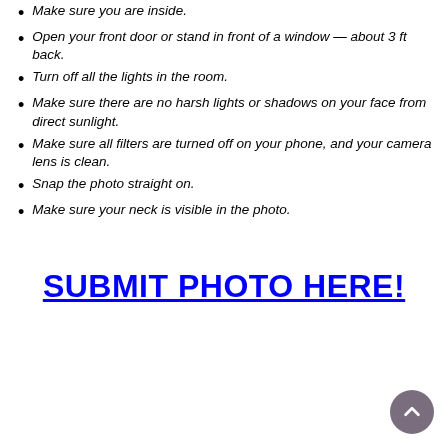Make sure you are inside.
Open your front door or stand in front of a window — about 3 ft back.
Turn off all the lights in the room.
Make sure there are no harsh lights or shadows on your face from direct sunlight.
Make sure all filters are turned off on your phone, and your camera lens is clean.
Snap the photo straight on.
Make sure your neck is visible in the photo.
SUBMIT PHOTO HERE!